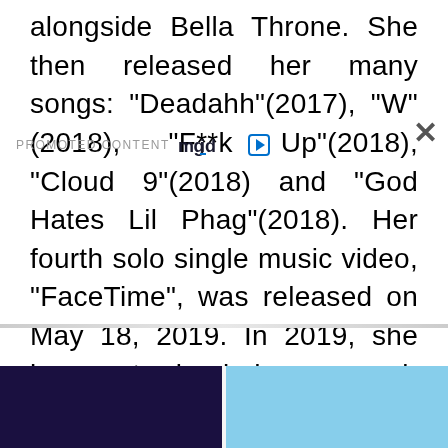alongside Bella Throne. She then released her many songs: "Deadahh"(2017), "W"(2018), "F**k Up"(2018), "Cloud 9"(2018) and "God Hates Lil Phag"(2018). Her fourth solo single music video, "FaceTime", was released on May 18, 2019. In 2019, she began starring in her own web series titled MTV No Filter: Tana Turns 21. By May 2019, Mongeau was said to be a cast in "Featured Creator" at the convention by VidCon.Tana's current progress is heading towards the intended shores of much-deserved fame.
[Figure (screenshot): Promoted content section with mgid logo, close button, and two thumbnail images at the bottom]